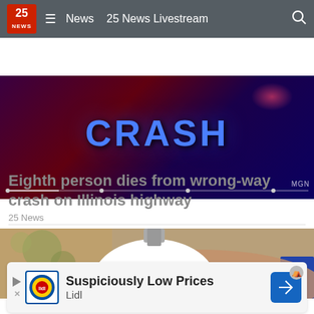25 NEWS   ≡   News   25 News Livestream   🔍
[Figure (photo): Video thumbnail showing the word CRASH in blue letters on a dark red/purple background with MGN watermark and video progress bar]
Eighth person dies from wrong-way crash on Illinois highway
25 News
[Figure (photo): Close-up photo of a hand holding a white dome security camera with a green lens, with blurred green lights in background]
Suspiciously Low Prices
Lidl